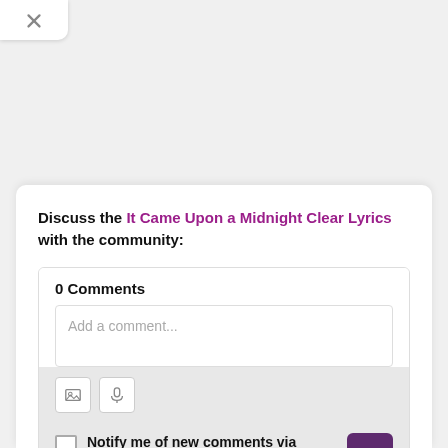[Figure (other): Close/collapse button with an X icon at top left]
Discuss the It Came Upon a Midnight Clear Lyrics with the community:
0 Comments
Add a comment...
[Figure (other): Toolbar with image icon and microphone icon]
Notify me of new comments via email.